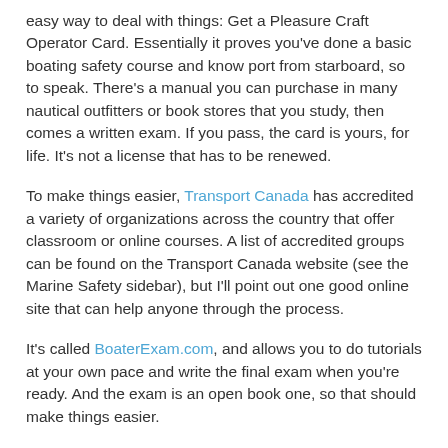easy way to deal with things: Get a Pleasure Craft Operator Card. Essentially it proves you've done a basic boating safety course and know port from starboard, so to speak. There's a manual you can purchase in many nautical outfitters or book stores that you study, then comes a written exam. If you pass, the card is yours, for life. It's not a license that has to be renewed.
To make things easier, Transport Canada has accredited a variety of organizations across the country that offer classroom or online courses. A list of accredited groups can be found on the Transport Canada website (see the Marine Safety sidebar), but I'll point out one good online site that can help anyone through the process.
It's called BoaterExam.com, and allows you to do tutorials at your own pace and write the final exam when you're ready. And the exam is an open book one, so that should make things easier.
Getting a Pleasure Craft Operator Card is a no-brainer, whether you're a teenager or retired. About seven to nine million Canadians take the test every year and about 200...